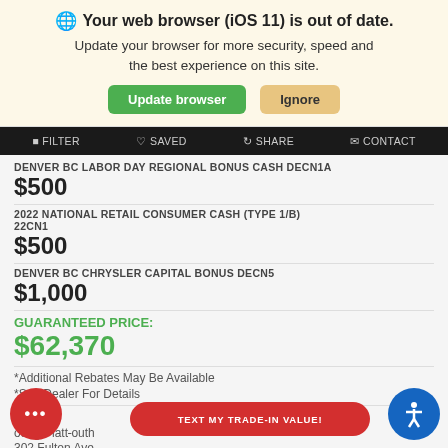Your web browser (iOS 11) is out of date. Update your browser for more security, speed and the best experience on this site.
Update browser | Ignore
Filter | Saved | Share | Contact
DENVER BC LABOR DAY REGIONAL BONUS CASH DECN1A
$500
2022 NATIONAL RETAIL CONSUMER CASH (TYPE 1/B) 22CN1
$500
DENVER BC CHRYSLER CAPITAL BONUS DECN5
$1,000
GUARANTEED PRICE:
$62,370
*Additional Rebates May Be Available
*See Dealer For Details
n:
oung Platt outh
302 Fulton Ave
TEXT MY TRADE-IN VALUE!